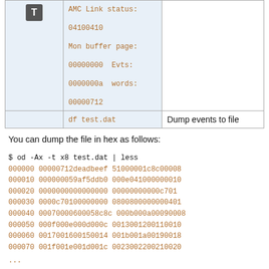|  | Command | Description |
| --- | --- | --- |
| [T icon] | AMC Link status:
04100410

Mon buffer page:
00000000  Evts:
0000000a  words:
00000712 |  |
|  | df test.dat | Dump events to file |
You can dump the file in hex as follows:
$ od -Ax -t x8 test.dat | less
000000 00000712deadbeef 510000001c8c00008
000010 000000059af5ddb0 000e041000000010
000020 0000000000000000 00000000000c701
000030 0000c70100000000 0800800000000401
000040 00070000600058c8c 000b000a00090008
000050 000f000e000d000c 0013001200110010
000060 0017001600150014 001b001a00190018
000070 001f001e001d001c 0023002200210020
...